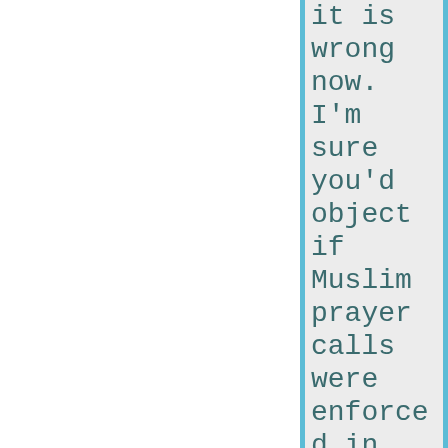it is wrong now. I'm sure you'd object if Muslim prayer calls were enforced in American law, or if Kosher dietary restrictions were part of the legal